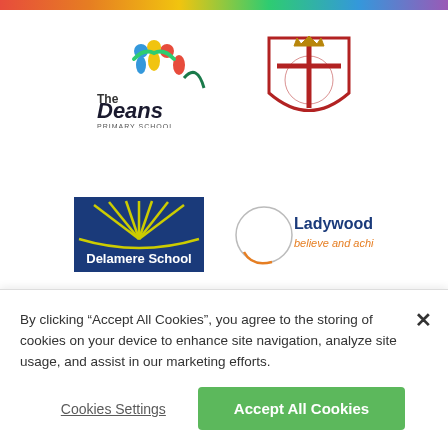[Figure (logo): Rainbow gradient bar at top of page]
[Figure (logo): The Deans Primary School logo with colorful figures and text]
[Figure (logo): Shield crest logo with cross and crown]
[Figure (logo): Delamere School logo with blue background and yellow sun rays]
[Figure (logo): Ladywood School - believe and achieve logo with circle]
By clicking “Accept All Cookies”, you agree to the storing of cookies on your device to enhance site navigation, analyze site usage, and assist in our marketing efforts.
Cookies Settings
Accept All Cookies